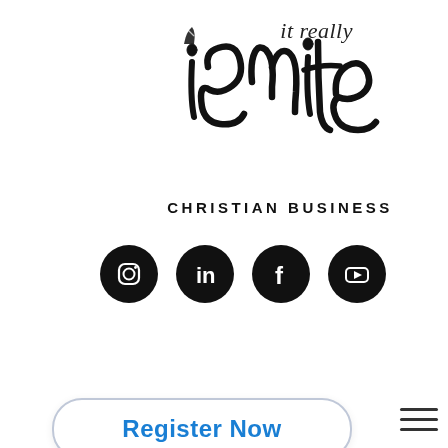[Figure (logo): Ignite Christian Business logo — stylized script 'ignite' with a paint/brush texture in black, with 'CHRISTIAN BUSINESS' in bold uppercase sans-serif below]
[Figure (infographic): Four social media icons in black circles: Instagram, LinkedIn, Facebook, YouTube]
it really
Register Now
[Figure (other): Hamburger menu icon (three horizontal lines)]
JULY 28-29, 2022
BOOK YOUR HOTEL
[Figure (photo): Dark brown/black background image at the bottom of the page, appearing to be a dark atmospheric photo]